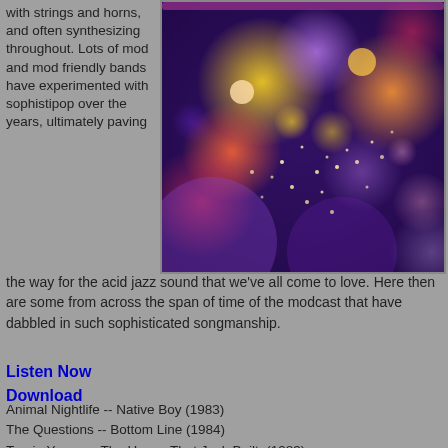with strings and horns, and often synthesizing throughout. Lots of mod and mod friendly bands have experimented with sophistipop over the years, ultimately paving
[Figure (photo): Bokeh background image with colorful blurred circles of light in purple, orange, yellow, red and white on a dark purple background]
the way for the acid jazz sound that we've all come to love. Here then are some from across the span of time of the modcast that have dabbled in such sophisticated songmanship.
Listen Now
Download
Animal Nightlife -- Native Boy (1983)
The Questions -- Bottom Line (1984)
Tracie Young -- The House That Jack Built  (1983)